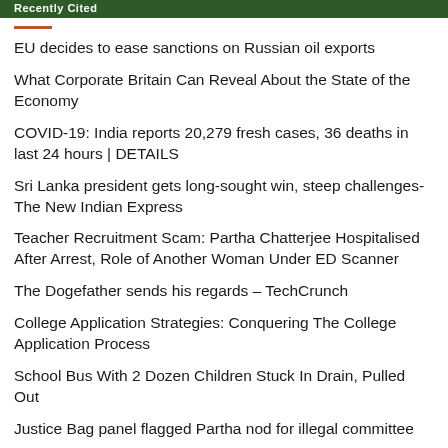Recently Cited
EU decides to ease sanctions on Russian oil exports
What Corporate Britain Can Reveal About the State of the Economy
COVID-19: India reports 20,279 fresh cases, 36 deaths in last 24 hours | DETAILS
Sri Lanka president gets long-sought win, steep challenges- The New Indian Express
Teacher Recruitment Scam: Partha Chatterjee Hospitalised After Arrest, Role of Another Woman Under ED Scanner
The Dogefather sends his regards – TechCrunch
College Application Strategies: Conquering The College Application Process
School Bus With 2 Dozen Children Stuck In Drain, Pulled Out
Justice Bag panel flagged Partha nod for illegal committee